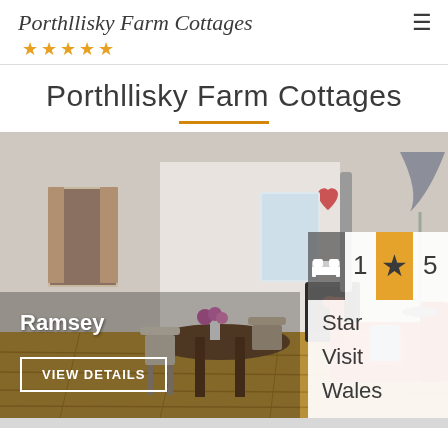Porthllisky Farm Cottages ★★★★★
Porthllisky Farm Cottages
[Figure (photo): Interior of a rustic Welsh farm cottage with white stone walls, wooden floor, dining table, chairs, wood-burning stove, and orange sofa. Overlaid with: Ramsey label, VIEW DETAILS button, bed/star rating badges showing 1 bedroom and 5 Star Visit Wales.]